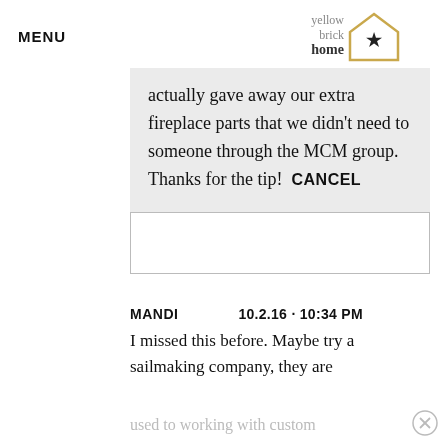MENU
[Figure (logo): Yellow Brick Home logo with house outline and star]
actually gave away our extra fireplace parts that we didn't need to someone through the MCM group. Thanks for the tip!  CANCEL
MANDI   10.2.16 · 10:34 PM
I missed this before. Maybe try a sailmaking company, they are used to working with custom